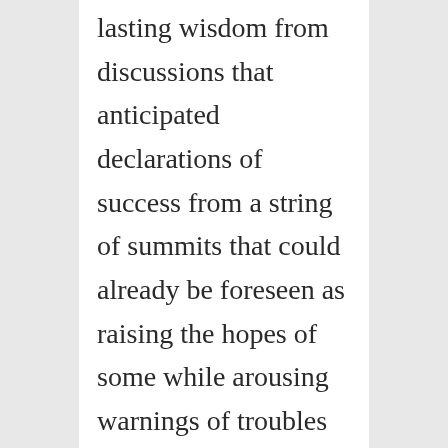lasting wisdom from discussions that anticipated declarations of success from a string of summits that could already be foreseen as raising the hopes of some while arousing warnings of troubles ahead by veterans of diplomacy.
In the background to the obsession with North Korea